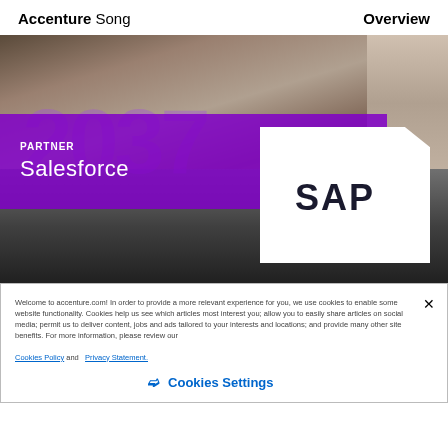Accenture Song    Overview
[Figure (photo): Composite hero image showing a crowd of people at a conference (top), a purple overlay band with 'PARTNER Salesforce' text, a watermark with large numbers, and a dark lower section with a cyan geometric triangle and a SAP logo on white background]
Welcome to accenture.com! In order to provide a more relevant experience for you, we use cookies to enable some website functionality. Cookies help us see which articles most interest you; allow you to easily share articles on social media; permit us to deliver content, jobs and ads tailored to your interests and locations; and provide many other site benefits. For more information, please review our Cookies Policy and   Privacy Statement.
❯  Cookies Settings